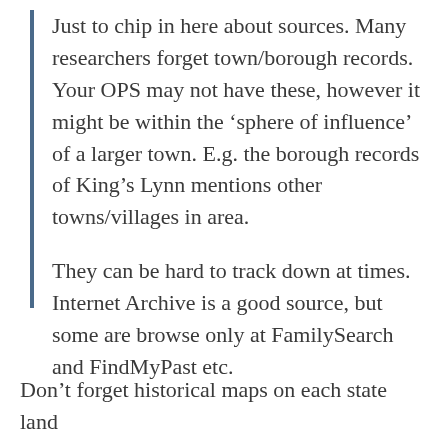Just to chip in here about sources. Many researchers forget town/borough records. Your OPS may not have these, however it might be within the ‘sphere of influence’ of a larger town. E.g. the borough records of King’s Lynn mentions other towns/villages in area.
They can be hard to track down at times. Internet Archive is a good source, but some are browse only at FamilySearch and FindMyPast etc.
Don’t forget historical maps on each state land